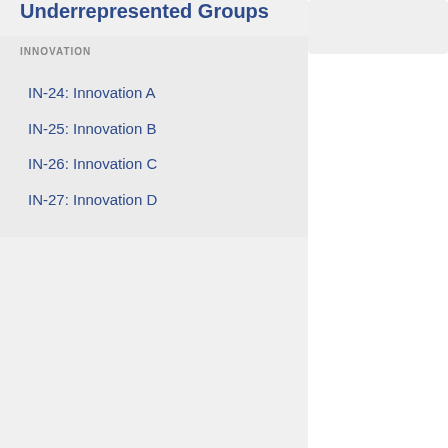Underrepresented Groups
INNOVATION
IN-24: Innovation A
IN-25: Innovation B
IN-26: Innovation C
IN-27: Innovation D
Does the institution composting progra
Yes
A brief description
The Campus Com from the Office c collect coffee gr The data of what All biodegradabl clippings, husks